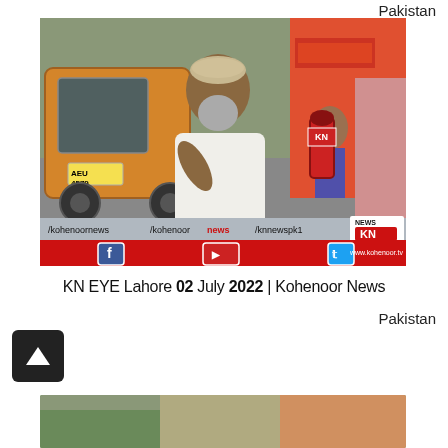Pakistan
[Figure (screenshot): Kohenoor News TV screenshot showing an elderly bearded man in a white kurta being interviewed on a street with an auto-rickshaw in the background. A reporter holds a KN (Kohenoor News) branded red microphone. Lower bar shows social media handles /kohenoornews /kohenoor news /knnewspk1 with Facebook, YouTube, Twitter icons, KN News logo and www.kohenoor.tv]
KN EYE Lahore 02 July 2022 | Kohenoor News Pakistan
Pakistan